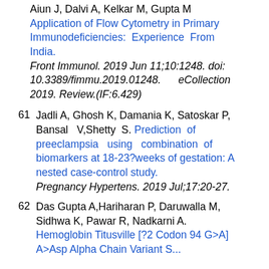Aiun J, Dalvi A, Kelkar M, Gupta M. Application of Flow Cytometry in Primary Immunodeficiencies: Experience From India. Front Immunol. 2019 Jun 11;10:1248. doi: 10.3389/fimmu.2019.01248. eCollection 2019. Review.(IF:6.429)
61 Jadli A, Ghosh K, Damania K, Satoskar P, Bansal V, Shetty S. Prediction of preeclampsia using combination of biomarkers at 18-23?weeks of gestation: A nested case-control study. Pregnancy Hypertens. 2019 Jul;17:20-27.
62 Das Gupta A, Hariharan P, Daruwalla M, Sidhwa K, Pawar R, Nadkarni A. Hemoglobin Titusville [?2 Codon 94 G>A] A>Asp Alpha Chain Variant S...